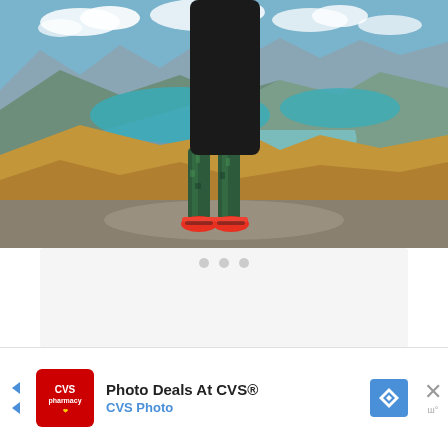[Figure (photo): Person standing on a rocky mountain summit overlooking a scenic valley with a turquoise lake, river delta, and mountain ranges under a partly cloudy sky. The person is wearing patterned teal leggings and bright red/orange sneakers, visible from the waist down.]
[Figure (other): Three horizontal slider/carousel indicator dots in light gray, indicating a multi-slide content area]
[Figure (screenshot): Advertisement banner for CVS Photo showing the CVS pharmacy logo, text 'Photo Deals At CVS®' and 'CVS Photo' in blue, a blue navigation arrow icon, and a close (X) button on the right side.]